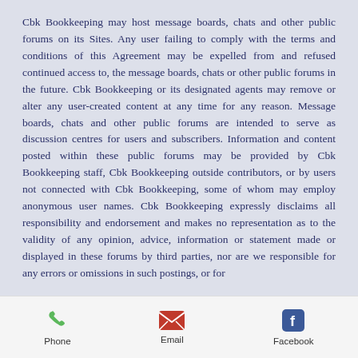Cbk Bookkeeping may host message boards, chats and other public forums on its Sites. Any user failing to comply with the terms and conditions of this Agreement may be expelled from and refused continued access to, the message boards, chats or other public forums in the future. Cbk Bookkeeping or its designated agents may remove or alter any user-created content at any time for any reason. Message boards, chats and other public forums are intended to serve as discussion centres for users and subscribers. Information and content posted within these public forums may be provided by Cbk Bookkeeping staff, Cbk Bookkeeping outside contributors, or by users not connected with Cbk Bookkeeping, some of whom may employ anonymous user names. Cbk Bookkeeping expressly disclaims all responsibility and endorsement and makes no representation as to the validity of any opinion, advice, information or statement made or displayed in these forums by third parties, nor are we responsible for any errors or omissions in such postings, or for
Phone  Email  Facebook